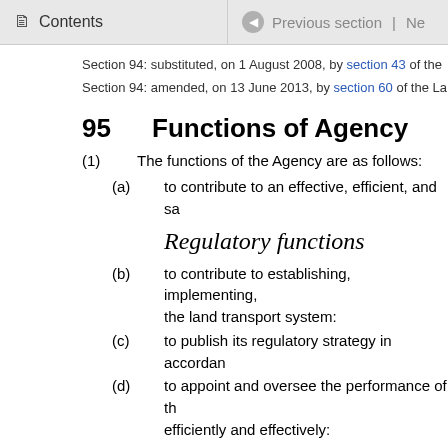Contents | Previous section | Ne
Section 94: substituted, on 1 August 2008, by section 43 of the
Section 94: amended, on 13 June 2013, by section 60 of the La
95 Functions of Agency
(1) The functions of the Agency are as follows:
(a) to contribute to an effective, efficient, and sa
Regulatory functions
(b) to contribute to establishing, implementing, the land transport system:
(c) to publish its regulatory strategy in accordan
(d) to appoint and oversee the performance of th efficiently and effectively:
(e) to issue warnings, reports, and guidance, and transport system and its participants or any c
(f) to manage and oversee regulatory requireme and documents concerning activities within
(g) to investigate and review accidents and incid